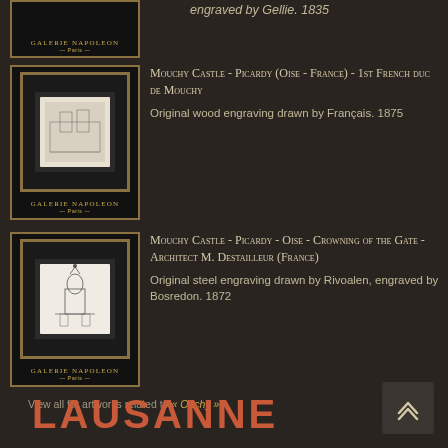engraved by Gellie. 1835
[Figure (photo): Framed artwork with gold border in Galerie Napoleon Paris style - Mouchy Castle]
Mouchy Castle - Picardy (Oise - France) - 1st French duc de Mouchy
Original wood engraving drawn by Français. 1875
[Figure (photo): Framed artwork with gold border in Galerie Napoleon Paris style - Mouchy Castle gate]
Mouchy Castle - Picardy - Oise - Crowning of the Gate - Architect M. Destailleur (France)
Original steel engraving drawn by Rivoalen, engraved by Bosredon. 1872
View all for artworks related to « Ouchy »
LAUSANNE